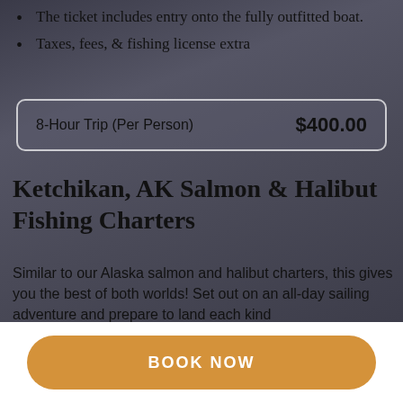The ticket includes entry onto the fully outfitted boat.
Taxes, fees, & fishing license extra
| 8-Hour Trip (Per Person) | $400.00 |
| --- | --- |
Ketchikan, AK Salmon & Halibut Fishing Charters
Similar to our Alaska salmon and halibut charters, this gives you the best of both worlds! Set out on an all-day sailing adventure and prepare to land each kind
BOOK NOW